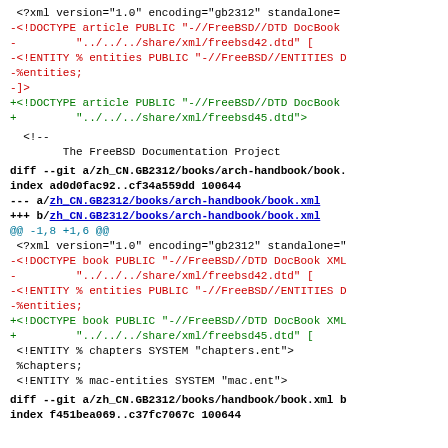<?xml version="1.0" encoding="gb2312" standalone=
red: -<!DOCTYPE article PUBLIC "-//FreeBSD//DTD DocBook
red: -         "../../../share/xml/freebsd42.dtd" [
red: -<!ENTITY % entities PUBLIC "-//FreeBSD//ENTITIES D
red: -%entities;
red: -]>
green: +<!DOCTYPE article PUBLIC "-//FreeBSD//DTD DocBook
green: +         "../../../share/xml/freebsd45.dtd">
<!--
        The FreeBSD Documentation Project
diff --git a/zh_CN.GB2312/books/arch-handbook/book.
index ad0d0fac92..cf34a559dd 100644
--- a/zh_CN.GB2312/books/arch-handbook/book.xml
+++ b/zh_CN.GB2312/books/arch-handbook/book.xml
@@ -1,8 +1,6 @@
 <?xml version="1.0" encoding="gb2312" standalone="
red: -<!DOCTYPE book PUBLIC "-//FreeBSD//DTD DocBook XML
red: -         "../../../share/xml/freebsd42.dtd" [
red: -<!ENTITY % entities PUBLIC "-//FreeBSD//ENTITIES D
red: -%entities;
green: +<!DOCTYPE book PUBLIC "-//FreeBSD//DTD DocBook XML
green: +         "../../../share/xml/freebsd45.dtd" [
  <!ENTITY % chapters SYSTEM "chapters.ent">
  %chapters;
  <!ENTITY % mac-entities SYSTEM "mac.ent">
diff --git a/zh_CN.GB2312/books/handbook/book.xml b
index f451bea069..c37fc7067c 100644